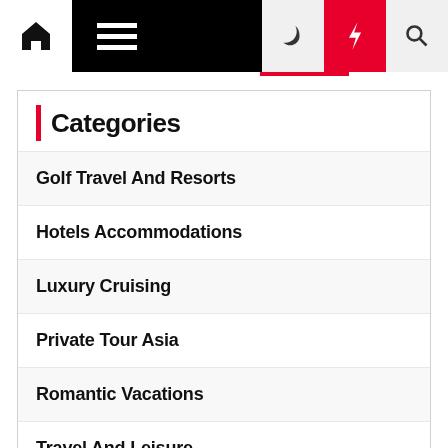Navigation bar with home, menu, moon, bolt, and search icons
Categories
Golf Travel And Resorts
Hotels Accommodations
Luxury Cruising
Private Tour Asia
Romantic Vacations
Travel And Leisure